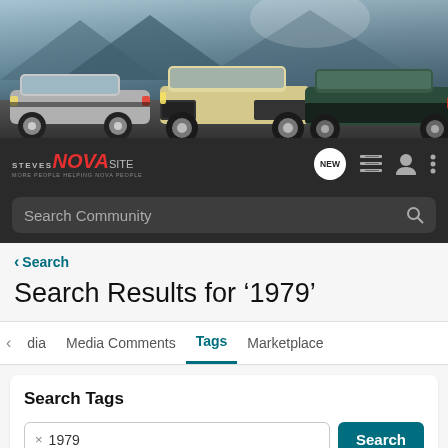[Figure (photo): Banner photo of three classic Chevrolet Nova muscle cars parked with mountains in the background]
STEVES NOVA SITE — Navigation bar with NEW badge, list icon, user icon, and menu icon
Search Community
< Search
Search Results for '1979'
<  dia   Media Comments   Tags   Marketplace
Search Tags
× 1979   Search